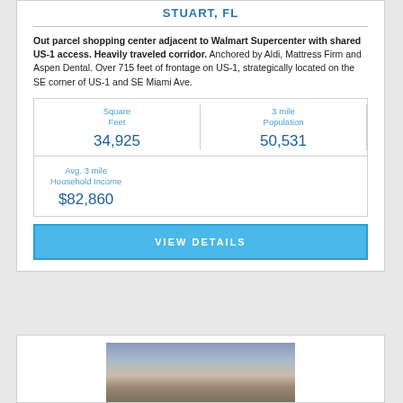STUART, FL
Out parcel shopping center adjacent to Walmart Supercenter with shared US-1 access. Heavily traveled corridor. Anchored by Aldi, Mattress Firm and Aspen Dental. Over 715 feet of frontage on US-1, strategically located on the SE corner of US-1 and SE Miami Ave.
| Square Feet | 3 mile Population |
| --- | --- |
| 34,925 | 50,531 |
Avg. 3 mile Household Income
$82,860
VIEW DETAILS
[Figure (photo): Exterior photo of property/shopping center with sky background]